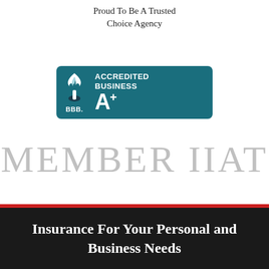Proud To Be A Trusted Choice Agency
[Figure (logo): BBB Accredited Business A+ badge with teal background, BBB flame logo on the left, and 'ACCREDITED BUSINESS A+' text on the right]
MEMBER IIAT
Insurance For Your Personal and Business Needs